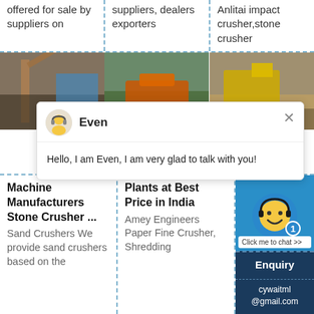offered for sale by suppliers on
suppliers, dealers exporters
Anlitai impact crusher,stone crusher
[Figure (photo): Industrial stone crusher machine at a quarry site]
[Figure (photo): Orange heavy machinery at a quarry site]
[Figure (photo): Yellow stone crusher plant at a quarry]
Hello, I am Even, I am very glad to talk with you!
Machine Manufacturers Stone Crusher ...
Sand Crushers We provide sand crushers based on the
Plants at Best Price in India
Amey Engineers Paper Fine Crusher, Shredding
Enquiry
cywaitml @gmail.com